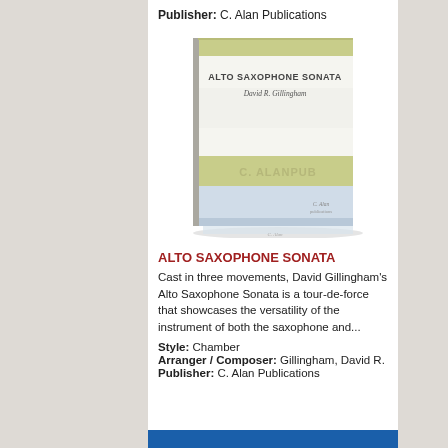Publisher: C. Alan Publications
[Figure (photo): Book cover of Alto Saxophone Sonata by David R. Gillingham, published by C. Alan Publications. Cover features green and light blue horizontal bands with the title in text.]
ALTO SAXOPHONE SONATA
Cast in three movements, David Gillingham's Alto Saxophone Sonata is a tour-de-force that showcases the versatility of the instrument of both the saxophone and...
Style: Chamber
Arranger / Composer: Gillingham, David R.
Publisher: C. Alan Publications